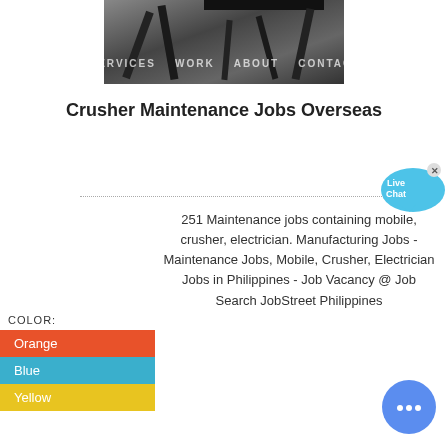[Figure (photo): Dark industrial/construction photo showing steel structural beams and framework with navigation bar overlay reading SERVICES, WORK, ABOUT, CONTACT]
Crusher Maintenance Jobs Overseas
[Figure (infographic): Live Chat bubble widget in cyan/blue color]
251 Maintenance jobs containing mobile, crusher, electrician. Manufacturing Jobs - Maintenance Jobs, Mobile, Crusher, Electrician Jobs in Philippines - Job Vacancy @ Job Search JobStreet Philippines
COLOR:
Orange
Blue
Yellow